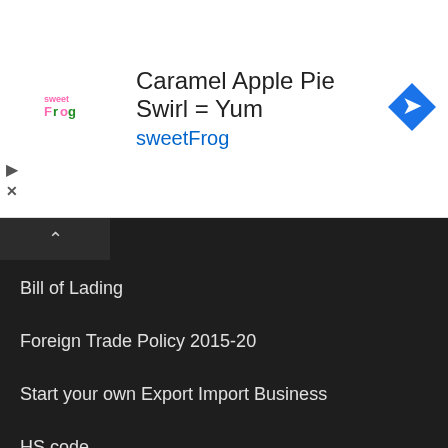[Figure (screenshot): SweetFrog advertisement banner with logo, text 'Caramel Apple Pie Swirl = Yum' and blue navigation badge icon]
Bill of Lading
Foreign Trade Policy 2015-20
Start your own Export Import Business
HS code
Banking (India)
India Trade Classification (ITC)
How to Import